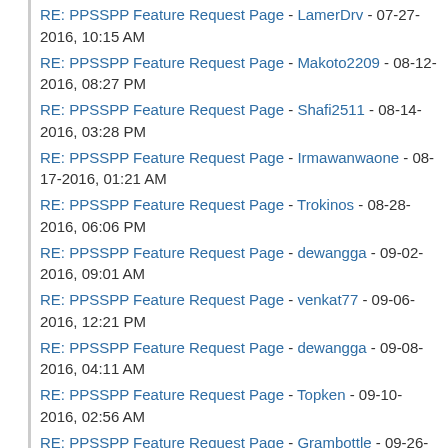RE: PPSSPP Feature Request Page - LamerDrv - 07-27-2016, 10:15 AM
RE: PPSSPP Feature Request Page - Makoto2209 - 08-12-2016, 08:27 PM
RE: PPSSPP Feature Request Page - Shafi2511 - 08-14-2016, 03:28 PM
RE: PPSSPP Feature Request Page - Irmawanwaone - 08-17-2016, 01:21 AM
RE: PPSSPP Feature Request Page - Trokinos - 08-28-2016, 06:06 PM
RE: PPSSPP Feature Request Page - dewangga - 09-02-2016, 09:01 AM
RE: PPSSPP Feature Request Page - venkat77 - 09-06-2016, 12:21 PM
RE: PPSSPP Feature Request Page - dewangga - 09-08-2016, 04:11 AM
RE: PPSSPP Feature Request Page - Topken - 09-10-2016, 02:56 AM
RE: PPSSPP Feature Request Page - Grambottle - 09-26-2016, 06:47 PM
RE: PPSSPP Feature Request Page - DefRussian - 10-09-2016, 10:39 PM
RE: PPSSPP Feature Request Page - XxAleckxX - 10-11-2016, 07:32 AM
RE: PPSSPP Feature Request Page - Lycanphoenix - 10-11-2016, 07:39 PM
RE: PPSSPP Feature Request Page - (cut off)